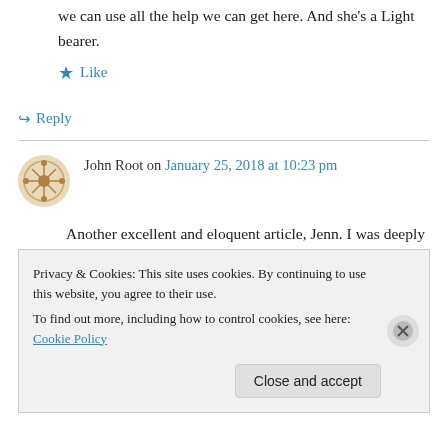we can use all the help we can get here. And she's a Light bearer.
★ Like
↪ Reply
John Root on January 25, 2018 at 10:23 pm
Another excellent and eloquent article, Jenn. I was deeply moved by Natalie's experiences and the depth of her awareness, but also deeply troubled after seeing the photograph of her
Privacy & Cookies: This site uses cookies. By continuing to use this website, you agree to their use. To find out more, including how to control cookies, see here: Cookie Policy
Close and accept